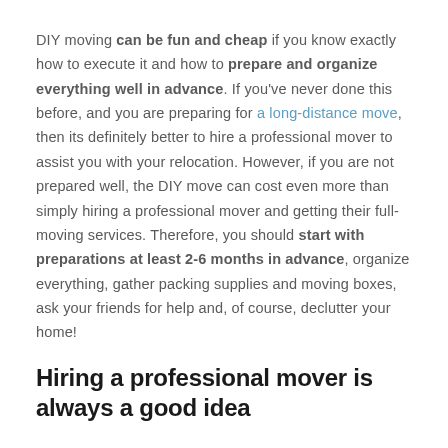DIY moving can be fun and cheap if you know exactly how to execute it and how to prepare and organize everything well in advance. If you've never done this before, and you are preparing for a long-distance move, then its definitely better to hire a professional mover to assist you with your relocation. However, if you are not prepared well, the DIY move can cost even more than simply hiring a professional mover and getting their full-moving services. Therefore, you should start with preparations at least 2-6 months in advance, organize everything, gather packing supplies and moving boxes, ask your friends for help and, of course, declutter your home!
Hiring a professional mover is always a good idea